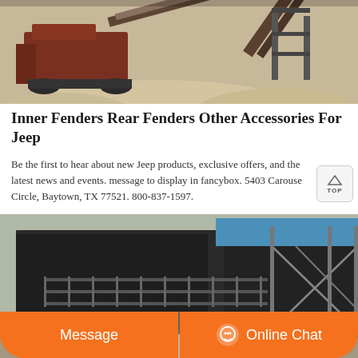[Figure (photo): Industrial machinery / mining equipment with conveyor belts at a sandy outdoor site]
Inner Fenders Rear Fenders Other Accessories For Jeep
Be the first to hear about new Jeep products, exclusive offers, and the latest news and events. message to display in fancybox. 5403 Carousel Circle, Baytown, TX 77521. 800-837-1597.
[Figure (photo): Industrial building / plant facility with dark metal structure and blue roof panel, with person and chat interface overlay]
Message
Online Chat